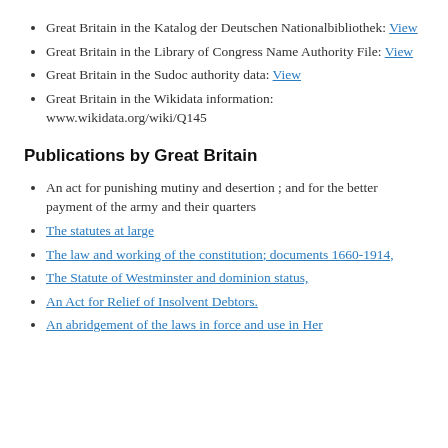Great Britain in the Katalog der Deutschen Nationalbibliothek: View
Great Britain in the Library of Congress Name Authority File: View
Great Britain in the Sudoc authority data: View
Great Britain in the Wikidata information: www.wikidata.org/wiki/Q145
Publications by Great Britain
An act for punishing mutiny and desertion ; and for the better payment of the army and their quarters
The statutes at large
The law and working of the constitution; documents 1660-1914,
The Statute of Westminster and dominion status,
An Act for Relief of Insolvent Debtors.
An abridgement of the laws in force and use in Her